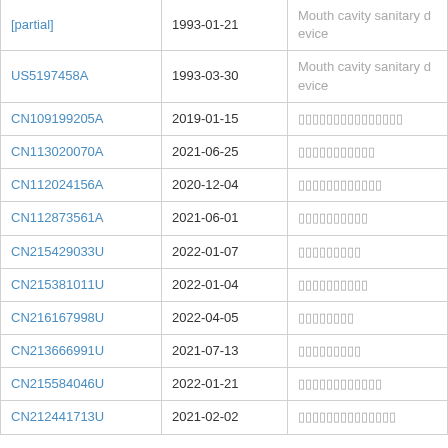| Patent/Application | Publication Date | Title |
| --- | --- | --- |
| [partial top row] | 1993-01-21 | Mouth cavity sanitary device |
| US5197458A | 1993-03-30 | Mouth cavity sanitary device |
| CN109199205A | 2019-01-15 | [Chinese characters] |
| CN113020070A | 2021-06-25 | [Chinese characters] |
| CN112024156A | 2020-12-04 | [Chinese characters] |
| CN112873561A | 2021-06-01 | [Chinese characters] |
| CN215429033U | 2022-01-07 | [Chinese characters] |
| CN215381011U | 2022-01-04 | [Chinese characters] |
| CN216167998U | 2022-04-05 | [Chinese characters] |
| CN213666991U | 2021-07-13 | [Chinese characters] |
| CN215584046U | 2022-01-21 | [Chinese characters] |
| CN212441713U | 2021-02-02 | [Chinese characters] |